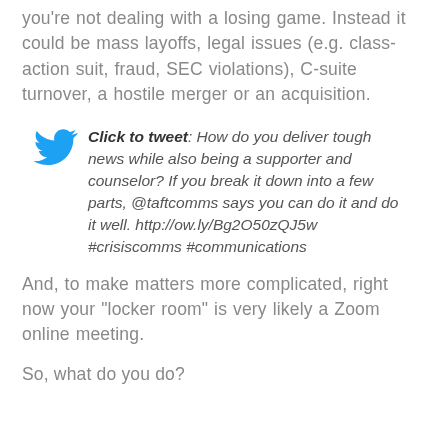you're not dealing with a losing game. Instead it could be mass layoffs, legal issues (e.g. class-action suit, fraud, SEC violations), C-suite turnover, a hostile merger or an acquisition.
[Figure (other): Twitter bird icon in blue]
Click to tweet: How do you deliver tough news while also being a supporter and counselor? If you break it down into a few parts, @taftcomms says you can do it and do it well. http://ow.ly/Bg2O50zQJ5w #crisiscomms #communications
And, to make matters more complicated, right now your “locker room” is very likely a Zoom online meeting.
So, what do you do?